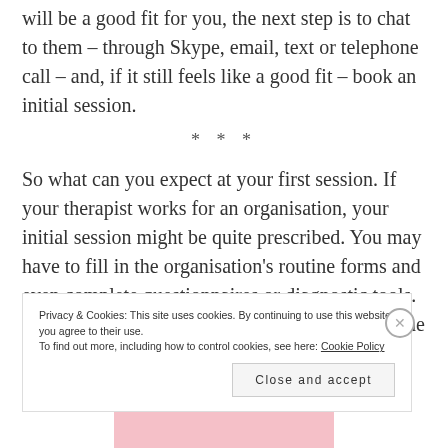will be a good fit for you, the next step is to chat to them – through Skype, email, text or telephone call – and, if it still feels like a good fit – book an initial session.
* * *
So what can you expect at your first session. If your therapist works for an organisation, your initial session might be quite prescribed. You may have to fill in the organisation's routine forms and even complete questionnaires or diagnostic tools. However, in a private practice situation, where the
Privacy & Cookies: This site uses cookies. By continuing to use this website, you agree to their use.
To find out more, including how to control cookies, see here: Cookie Policy
Close and accept